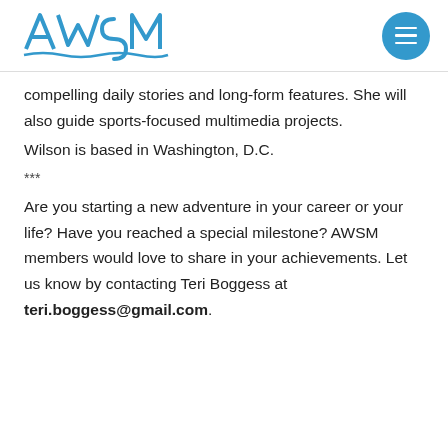AWSM
compelling daily stories and long-form features. She will also guide sports-focused multimedia projects.
Wilson is based in Washington, D.C.
***
Are you starting a new adventure in your career or your life? Have you reached a special milestone? AWSM members would love to share in your achievements. Let us know by contacting Teri Boggess at teri.boggess@gmail.com.